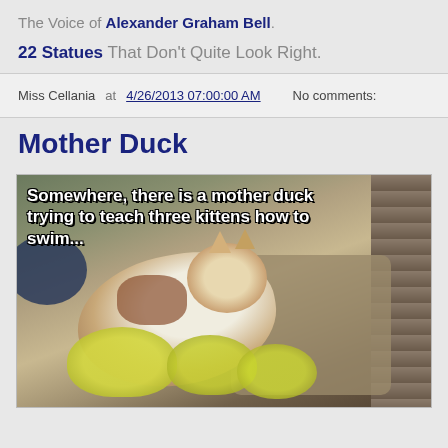The Voice of Alexander Graham Bell.
22 Statues That Don't Quite Look Right.
Miss Cellania at 4/26/2013 07:00:00 AM    No comments:
Mother Duck
[Figure (photo): Meme photo showing a calico cat lying with three yellow ducklings, with white bold text overlay reading: 'Somewhere, there is a mother duck trying to teach three kittens how to swim...']